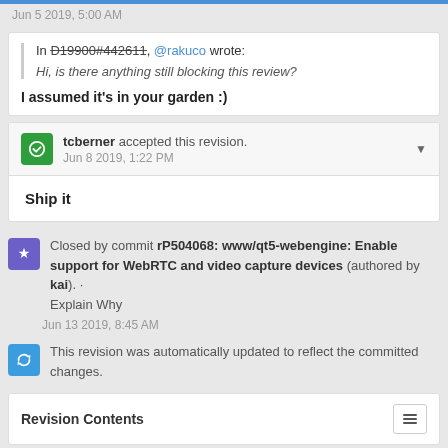Jun 5 2019, 5:00 AM
In D19900#442611, @rakuco wrote:
Hi, is there anything still blocking this review?
I assumed it's in your garden :)
tcberner accepted this revision. Jun 8 2019, 1:22 PM
Ship it
Closed by commit rP504068: www/qt5-webengine: Enable support for WebRTC and video capture devices (authored by kai). · Explain Why
Jun 13 2019, 8:45 AM
This revision was automatically updated to reflect the committed changes.
Revision Contents